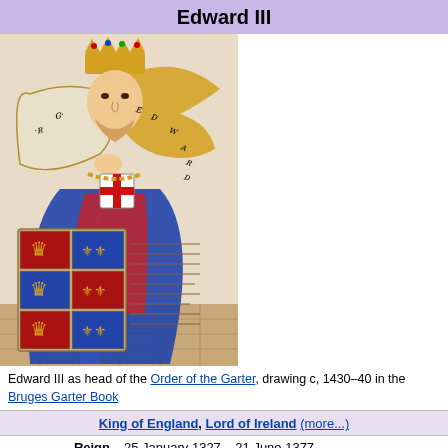Edward III
[Figure (illustration): Medieval illustration of Edward III as head of the Order of the Garter, drawing c. 1430-40 in the Bruges Garter Book. Shows a crowned king in blue robes holding a scroll with heraldic shields.]
Edward III as head of the Order of the Garter, drawing c. 1430–40 in the Bruges Garter Book
King of England, Lord of Ireland (more...)
| Field | Value |
| --- | --- |
| Reign | 25 January 1327 – 21 June 1377 |